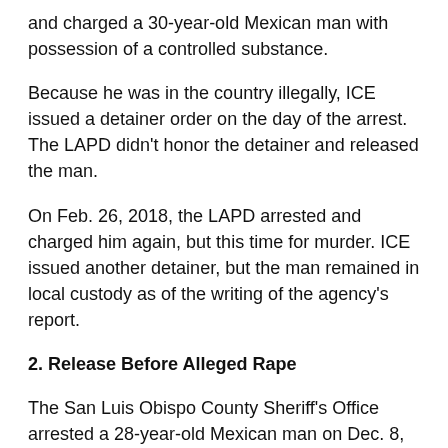and charged a 30-year-old Mexican man with possession of a controlled substance.
Because he was in the country illegally, ICE issued a detainer order on the day of the arrest. The LAPD didn't honor the detainer and released the man.
On Feb. 26, 2018, the LAPD arrested and charged him again, but this time for murder. ICE issued another detainer, but the man remained in local custody as of the writing of the agency's report.
2. Release Before Alleged Rape
The San Luis Obispo County Sheriff's Office arrested a 28-year-old Mexican man on Dec. 8, 2017, charging him with a probation violation.
The next day, ICE issued a detainer that the sheriff's office did not honor, according to ICE, and he was released.